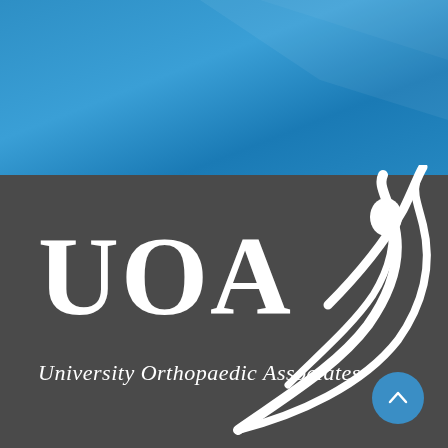[Figure (logo): UOA University Orthopaedic Associates logo on dark gray background with blue upper section and white figure/person graphic on the right side]
UOA
University Orthopaedic Associates